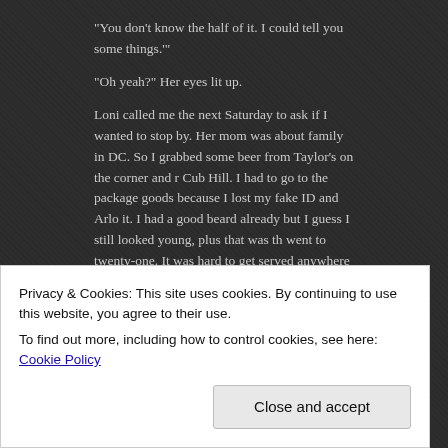“You don’t know the half of it. I could tell you some things.’”
“Oh yeah?” Her eyes lit up.
Loni called me the next Saturday to ask if I wanted to stop by. Her mom was about family in DC. So I grabbed some beer from Taylor’s on the corner and Cub Hill. I had to go to the package goods because I lost my fake ID and Arlo it. I had a good beard already but I guess I still looked young, plus that was the went to twenty-one. It was hard to get served anywhere without ID. But Taylor worked there, a friend of my dad. He called me “Billy.” I think he was senile, b my dad so he never carded me.
“Hey-a Billy, how’s er going tonight?” He’d ask when I came in. “Tonight’s the lottery ticket in the air, while smiling and chewing his unlit cigar. “I think this o every time. I always bought it too, because I was certain it was extortion: If yo puke, you’re gonna have to buy a lottery ticket.
Privacy & Cookies: This site uses cookies. By continuing to use this website, you agree to their use.
To find out more, including how to control cookies, see here: Cookie Policy
Close and accept